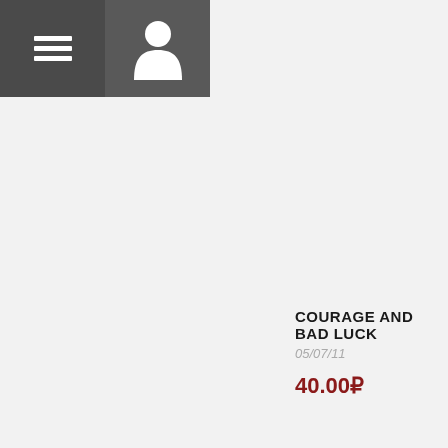[Figure (screenshot): Navigation header bar with two buttons: a hamburger menu icon on the left (dark gray background) and a user/person icon on the right (slightly lighter dark gray background)]
COURAGE AND BAD LUCK
05/07/11
40.00₽